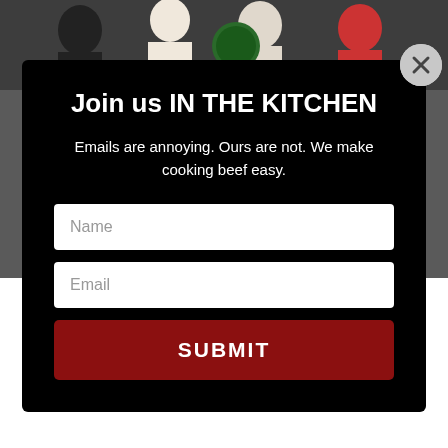[Figure (photo): Background photo of people in a kitchen/event setting, partially visible behind modal overlay]
Join us IN THE KITCHEN
Emails are annoying. Ours are not. We make cooking beef easy.
Name
Email
SUBMIT
proud of. A member of the Cattlemen family, the bond is strong, which stretches coast to coast — ...
Continue Reading